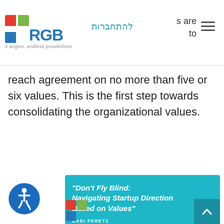[Figure (logo): RGB logo with colored squares and tagline '3 angles, endless possibilities']
להתחברות
s are to reach agreement on no more than five or six values. This is the first step towards consolidating the organizational values.
[Figure (illustration): Blue article card with title 'Don't Fly Blind: Navigating Startup Direction Based on Values' by Gadi Peretz, featuring a fighter jet image]
[Figure (logo): Accessibility icon (wheelchair symbol in circle)]
[Figure (logo): RGB logo squares at bottom]